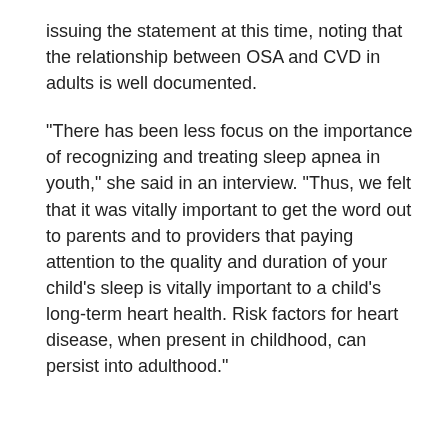issuing the statement at this time, noting that the relationship between OSA and CVD in adults is well documented.
"There has been less focus on the importance of recognizing and treating sleep apnea in youth," she said in an interview. "Thus, we felt that it was vitally important to get the word out to parents and to providers that paying attention to the quality and duration of your child's sleep is vitally important to a child's long-term heart health. Risk factors for heart disease, when present in childhood, can persist into adulthood."